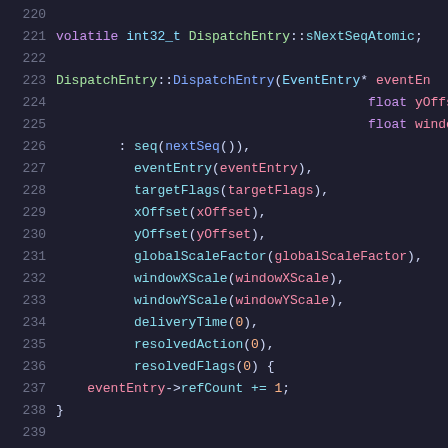Code snippet showing C++ source lines 221-241: DispatchEntry class constructor and destructor implementation with member initializer list.